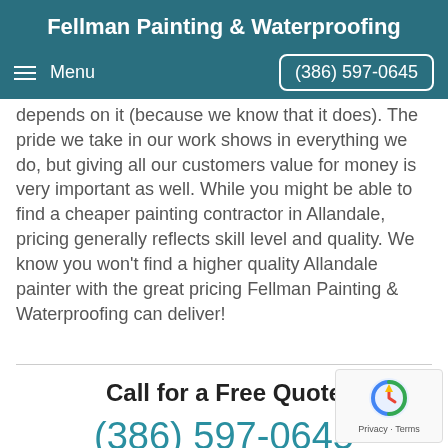Fellman Painting & Waterproofing
Menu  (386) 597-0645
depends on it (because we know that it does). The pride we take in our work shows in everything we do, but giving all our customers value for money is very important as well. While you might be able to find a cheaper painting contractor in Allandale, pricing generally reflects skill level and quality. We know you won't find a higher quality Allandale painter with the great pricing Fellman Painting & Waterproofing can deliver!
Call for a Free Quote
(386) 597-0645